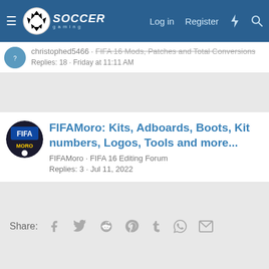Soccer Gaming - Log in | Register
christophed5466 · FIFA 16 Mods, Patches and Total Conversions
Replies: 18 · Friday at 11:11 AM
FIFAMoro: Kits, Adboards, Boots, Kit numbers, Logos, Tools and more...
FIFAMoro · FIFA 16 Editing Forum
Replies: 3 · Jul 11, 2022
Share: